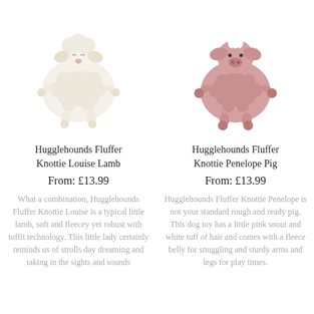[Figure (photo): Hugglehounds Fluffer Knottie Louise Lamb plush dog toy - cream/white fluffy lamb with knotted limbs]
[Figure (photo): Hugglehounds Fluffer Knottie Penelope Pig plush dog toy - pink pig with knotted limbs, white tuff of hair]
Hugglehounds Fluffer Knottie Louise Lamb
Hugglehounds Fluffer Knottie Penelope Pig
From: £13.99
From: £13.99
What a combination, Hugglehounds Fluffer Knottie Louise is a typical little lamb, soft and fleecey yet robust with tuffit technology. This little lady certainly reminds us of strolls day dreaming and taking in the sights and sounds
Hugglehounds Fluffer Knottie Penelope is not your standard rough and ready pig. This dog toy has a little pink snout and white tuff of hair and comes with a fleece belly for snuggling and sturdy arms and legs for play times.